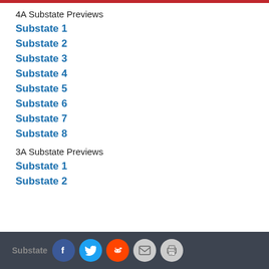4A Substate Previews
Substate 1
Substate 2
Substate 3
Substate 4
Substate 5
Substate 6
Substate 7
Substate 8
3A Substate Previews
Substate 1
Substate 2
Substate [social share buttons: Facebook, Twitter, Reddit, Email, Print]